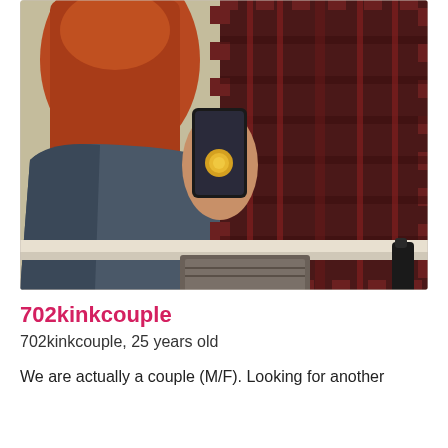[Figure (photo): A couple taking a mirror selfie in a bathroom. The woman on the left has long auburn/red hair and is wearing a denim jacket. The man on the right is wearing a dark red plaid flannel shirt. One of them holds a phone with a yellow PopSocket. A marble-top bathroom counter with folded grey towels and a black soap dispenser is visible below.]
702kinkcouple
702kinkcouple, 25 years old
We are actually a couple (M/F). Looking for another